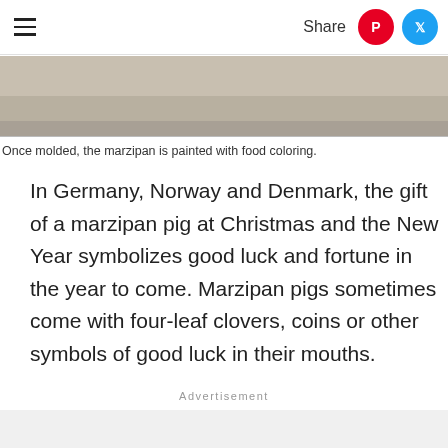Share
[Figure (photo): Cropped bottom portion of a photo showing marzipan being molded, beige/tan colored background]
Once molded, the marzipan is painted with food coloring.
In Germany, Norway and Denmark, the gift of a marzipan pig at Christmas and the New Year symbolizes good luck and fortune in the year to come. Marzipan pigs sometimes come with four-leaf clovers, coins or other symbols of good luck in their mouths.
Advertisement